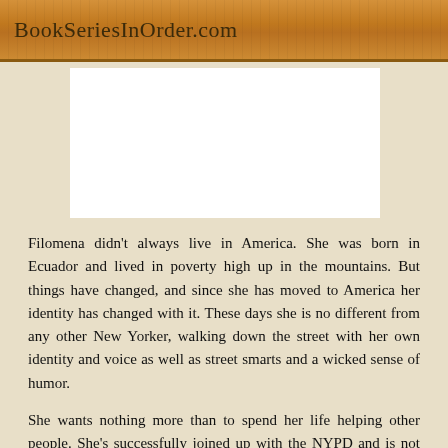BookSeriesInOrder.com
[Figure (other): White advertisement/image placeholder block]
Filomena didn't always live in America. She was born in Ecuador and lived in poverty high up in the mountains. But things have changed, and since she has moved to America her identity has changed with it. These days she is no different from any other New Yorker, walking down the street with her own identity and voice as well as street smarts and a wicked sense of humor.
She wants nothing more than to spend her life helping other people. She's successfully joined up with the NYPD and is not only one of the few women working in a job that is mostly men, but she's also a person of color in that same situation where most of the men are white. It's a difficult situation to be in and her fellow coworkers